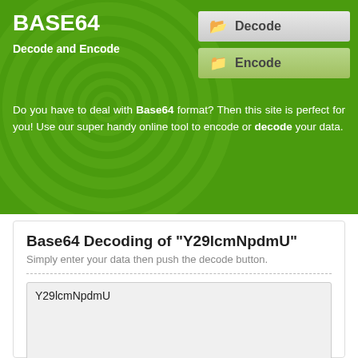BASE64
Decode and Encode
[Figure (screenshot): Decode button (folder icon) and Encode button (folder icon) navigation buttons on green background]
Do you have to deal with Base64 format? Then this site is perfect for you! Use our super handy online tool to encode or decode your data.
Base64 Decoding of "Y29lcmNpdmU"
Simply enter your data then push the decode button.
Y29lcmNpdmU